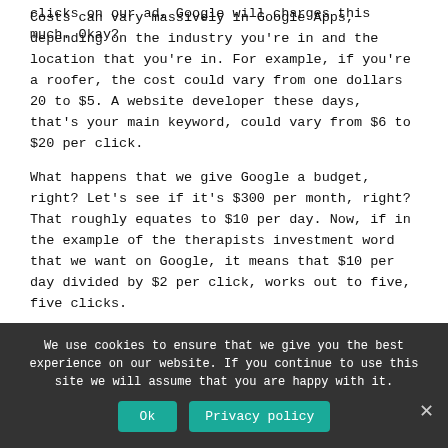clicks on our ad, Google will charges this much. Okay?
Costs can vary massively in Google Apps, depending on the industry you’re in and the location that you’re in. For example, if you’re a roofer, the cost could vary from one dollars 20 to $5. A website developer these days, that’s your main keyword, could vary from $6 to $20 per click.
What happens that we give Google a budget, right? Let’s see if it’s $300 per month, right? That roughly equates to $10 per day. Now, if in the example of the therapists investment word that we want on Google, it means that $10 per day divided by $2 per click, works out to five, five clicks.
We use cookies to ensure that we give you the best experience on our website. If you continue to use this site we will assume that you are happy with it.